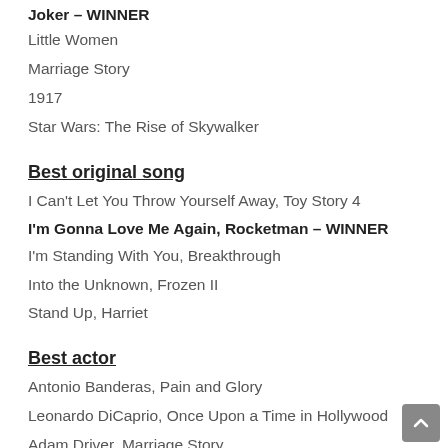Joker – WINNER
Little Women
Marriage Story
1917
Star Wars: The Rise of Skywalker
Best original song
I Can't Let You Throw Yourself Away, Toy Story 4
I'm Gonna Love Me Again, Rocketman – WINNER
I'm Standing With You, Breakthrough
Into the Unknown, Frozen II
Stand Up, Harriet
Best actor
Antonio Banderas, Pain and Glory
Leonardo DiCaprio, Once Upon a Time in Hollywood
Adam Driver, Marriage Story
Joaquin Phoenix, Joker – WINNER